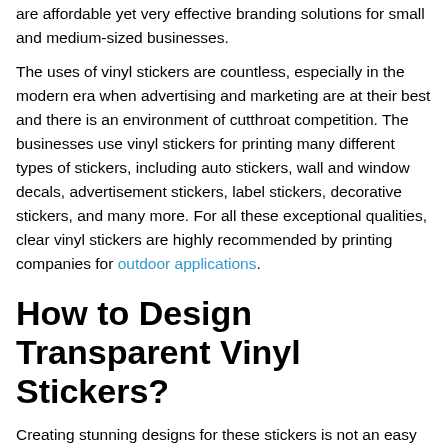are affordable yet very effective branding solutions for small and medium-sized businesses.
The uses of vinyl stickers are countless, especially in the modern era when advertising and marketing are at their best and there is an environment of cutthroat competition. The businesses use vinyl stickers for printing many different types of stickers, including auto stickers, wall and window decals, advertisement stickers, label stickers, decorative stickers, and many more. For all these exceptional qualities, clear vinyl stickers are highly recommended by printing companies for outdoor applications.
How to Design Transparent Vinyl Stickers?
Creating stunning designs for these stickers is not an easy